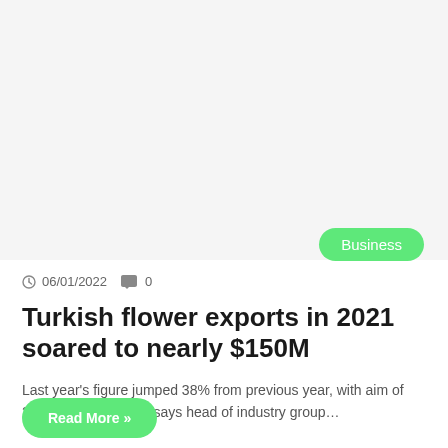[Figure (photo): White/light gray blank image area at the top of the article card]
Business
06/01/2022  0
Turkish flower exports in 2021 soared to nearly $150M
Last year's figure jumped 38% from previous year, with aim of 20% growth in 2022, says head of industry group…
Read More »